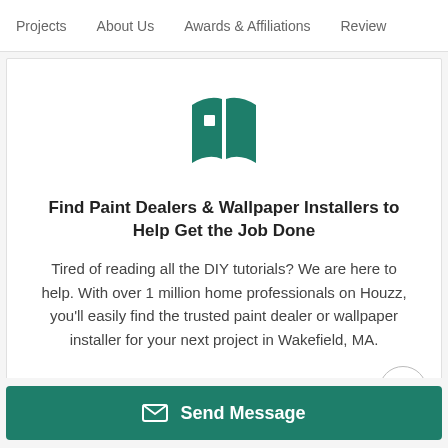Projects | About Us | Awards & Affiliations | Review
[Figure (logo): Houzz open book / two-pages logo icon in teal green]
Find Paint Dealers & Wallpaper Installers to Help Get the Job Done
Tired of reading all the DIY tutorials? We are here to help. With over 1 million home professionals on Houzz, you'll easily find the trusted paint dealer or wallpaper installer for your next project in Wakefield, MA.
Send Message